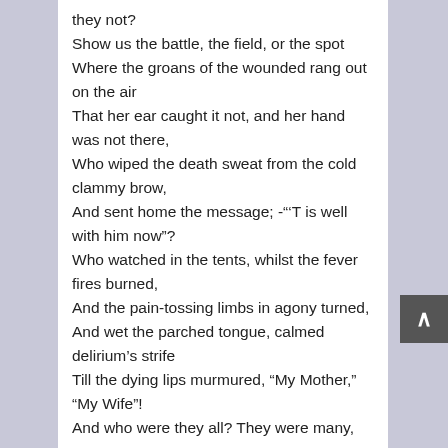they not?
Show us the battle, the field, or the spot
Where the groans of the wounded rang out on the air
That her ear caught it not, and her hand was not there,
Who wiped the death sweat from the cold clammy brow,
And sent home the message; -“’T is well with him now”?
Who watched in the tents, whilst the fever fires burned,
And the pain-tossing limbs in agony turned,
And wet the parched tongue, calmed delirium’s strife
Till the dying lips murmured, “My Mother,” “My Wife”!
And who were they all? They were many, my men;